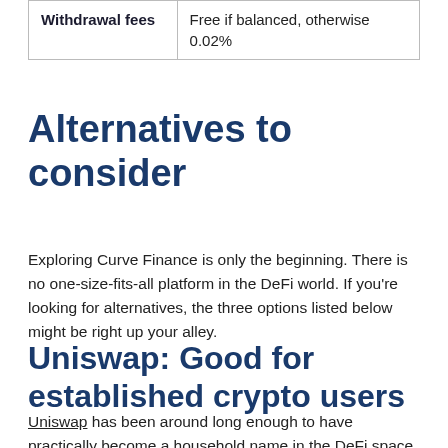| Withdrawal fees | Free if balanced, otherwise 0.02% |
Alternatives to consider
Exploring Curve Finance is only the beginning. There is no one-size-fits-all platform in the DeFi world. If you're looking for alternatives, the three options listed below might be right up your alley.
Uniswap: Good for established crypto users
Uniswap has been around long enough to have practically become a household name in the DeFi space, making it a great alternative for established crypto users. You don't have to pick one or the